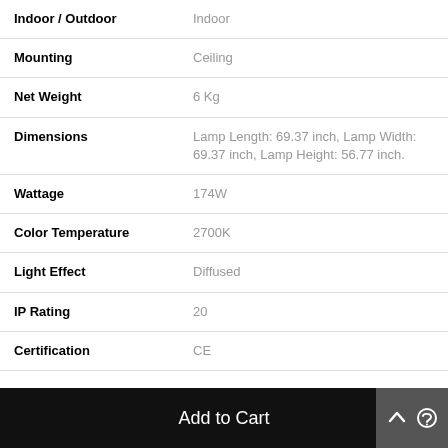| Attribute | Value |
| --- | --- |
| Indoor / Outdoor | Indoor |
| Mounting | Ceiling |
| Net Weight | 6 Kg |
| Dimensions | Lamp Length: 69.37 inch, Lamp Width: 69.37 inch, Lamp Height: 56.77 inch. |
| Wattage | 174W |
| Color Temperature | 2700K |
| Light Effect | Diffused |
| IP Rating | 20 |
| Certification | CE |
Add to Cart